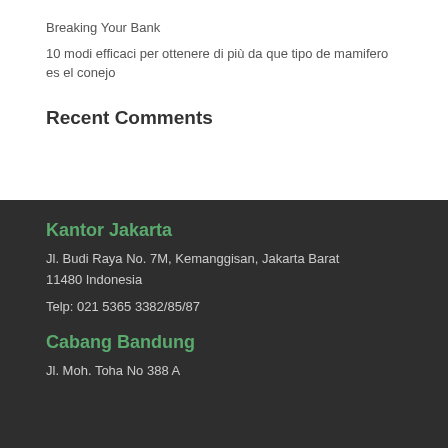Breaking Your Bank
10 modi efficaci per ottenere di più da que tipo de mamifero es el conejo
Recent Comments
Kantor Jakarta
Jl. Budi Raya No. 7M, Kemanggisan, Jakarta Barat 11480 Indonesia
Telp: 021 5365 3382/85/87
Cabang Bandung
Jl. Moh. Toha No 388 A